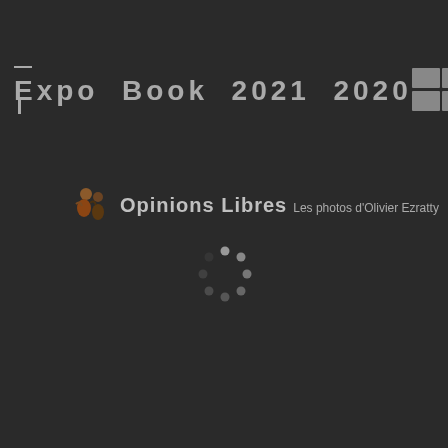Expo Book 2021 2020
[Figure (screenshot): Two grid/table icon thumbnails in the top-right corner representing layout view toggles]
Opinions Libres  Les photos d'Olivier Ezratty
[Figure (other): Circular loading spinner made of grey dots]